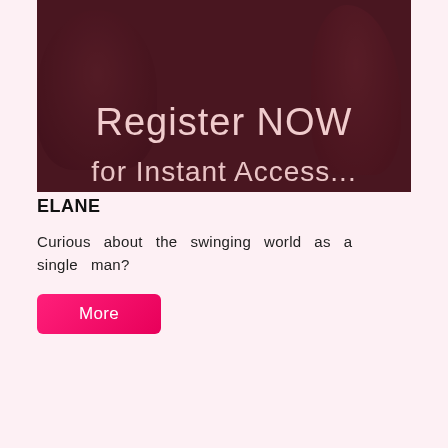[Figure (photo): Banner image with dark overlay showing figures, with large text 'Register NOW' and partial text 'for Instant Access' at the bottom]
ELANE
Curious about the swinging world as a single man?
More